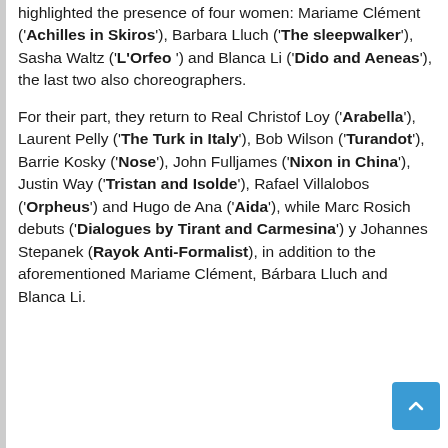highlighted the presence of four women: Mariame Clément ('Achilles in Skiros'), Barbara Lluch ('The sleepwalker'), Sasha Waltz ('L'Orfeo ') and Blanca Li ('Dido and Aeneas'), the last two also choreographers.

For their part, they return to Real Christof Loy ('Arabella'), Laurent Pelly ('The Turk in Italy'), Bob Wilson ('Turandot'), Barrie Kosky ('Nose'), John Fulljames ('Nixon in China'), Justin Way ('Tristan and Isolde'), Rafael Villalobos ('Orpheus') and Hugo de Ana ('Aida'), while Marc Rosich debuts ('Dialogues by Tirant and Carmesina') y Johannes Stepanek (Rayok Anti-Formalist), in addition to the aforementioned Mariame Clément, Bárbara Lluch and Blanca Li.